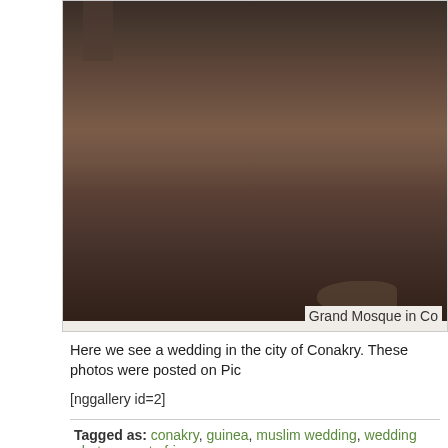[Figure (photo): Outdoor scene showing a dusty/earthy ground with a person figure visible, possibly a street or open area. Dark brownish tones throughout.]
Grand Mosque in Co
Here we see a wedding in the city of Conakry. These photos were posted on Pic
[nggallery id=2]
Tagged as: conakry, guinea, muslim wedding, wedding photos, west africa
muslim wedding -
[Figure (photo): Thumbnail photo of a historic gate/archway in the Medina of Fez, Morocco. Shows an ornate arched gateway with people near the entrance.]
A Moroccan Wedding from the Medina of Fez
6/02/10 • (0)